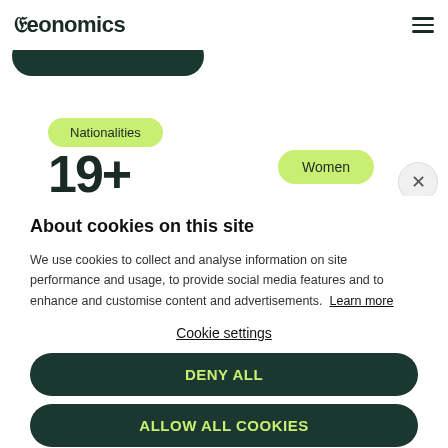Neonomics
[Figure (screenshot): Partial background page showing a dark pill/badge, a light green 'Nationalities' pill badge, a large bold number '19+', and a light green 'Women' pill badge, with a close (×) button]
About cookies on this site
We use cookies to collect and analyse information on site performance and usage, to provide social media features and to enhance and customise content and advertisements. Learn more
Cookie settings
DENY ALL
ALLOW ALL COOKIES